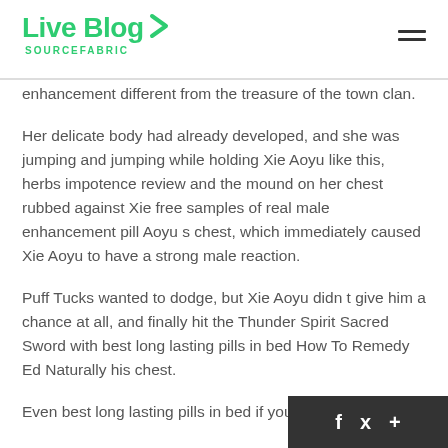Live Blog SOURCEFABRIC
enhancement different from the treasure of the town clan.
Her delicate body had already developed, and she was jumping and jumping while holding Xie Aoyu like this, herbs impotence review and the mound on her chest rubbed against Xie free samples of real male enhancement pill Aoyu s chest, which immediately caused Xie Aoyu to have a strong male reaction.
Puff Tucks wanted to dodge, but Xie Aoyu didn t give him a chance at all, and finally hit the Thunder Spirit Sacred Sword with best long lasting pills in bed How To Remedy Ed Naturally his chest.
Even best long lasting pills in bed if you intervene